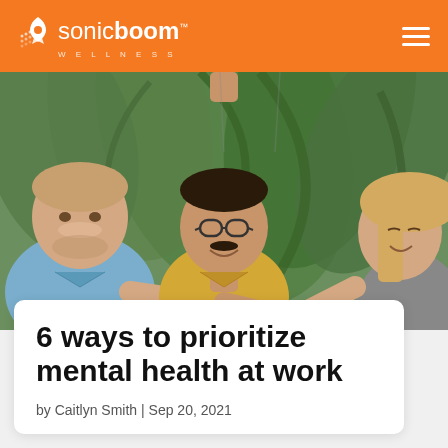sonic boom WELLNESS
[Figure (photo): Three people smiling and doing a fist bump together in a greenhouse or indoor garden setting with tropical plants in the background. A man in a blue denim shirt on the left, a man in a yellow/mustard shirt with glasses in the center, and a woman on the right.]
6 ways to prioritize mental health at work
by Caitlyn Smith | Sep 20, 2021